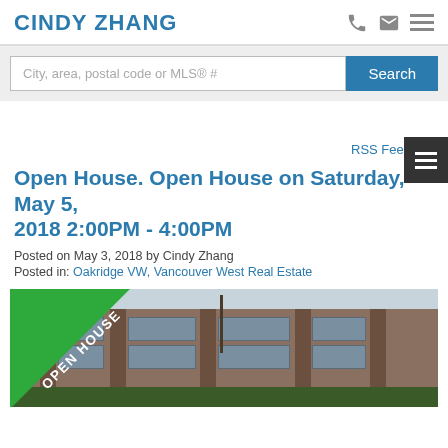CINDY ZHANG
City, area, postal code or MLS® #
Open House. Open House on Saturday, May 5, 2018 2:00PM - 4:00PM
Posted on May 3, 2018 by Cindy Zhang
Posted in: Oakridge VW, Vancouver West Real Estate
[Figure (photo): Exterior photo of modern townhouses with green 'OPEN HOUSE' diagonal banner in lower left corner]